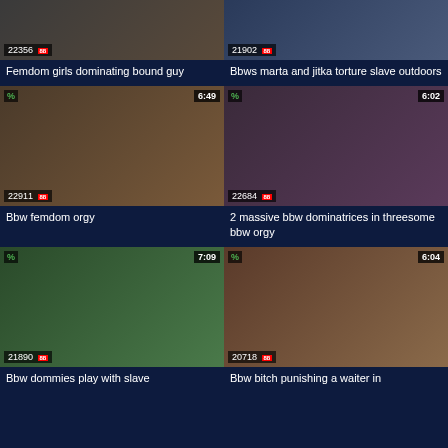[Figure (screenshot): Video thumbnail grid row 1 left - count 22356]
Femdom girls dominating bound guy
[Figure (screenshot): Video thumbnail grid row 1 right - count 21902]
Bbws marta and jitka torture slave outdoors
[Figure (screenshot): Video thumbnail row 2 left - duration 6:49, count 22911]
Bbw femdom orgy
[Figure (screenshot): Video thumbnail row 2 right - duration 6:02, count 22684]
2 massive bbw dominatrices in threesome bbw orgy
[Figure (screenshot): Video thumbnail row 3 left - duration 7:09, count 21890]
Bbw dommies play with slave
[Figure (screenshot): Video thumbnail row 3 right - duration 6:04, count 20718]
Bbw bitch punishing a waiter in